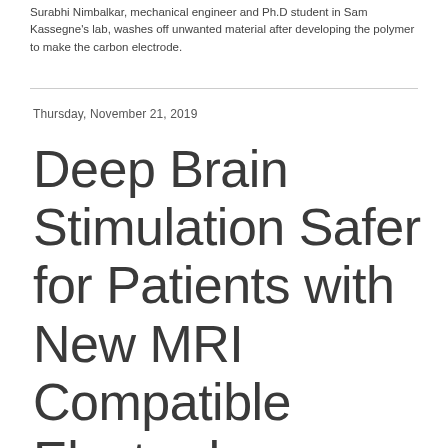Surabhi Nimbalkar, mechanical engineer and Ph.D student in Sam Kassegne's lab, washes off unwanted material after developing the polymer to make the carbon electrode.
Thursday, November 21, 2019
Deep Brain Stimulation Safer for Patients with New MRI Compatible Electrode